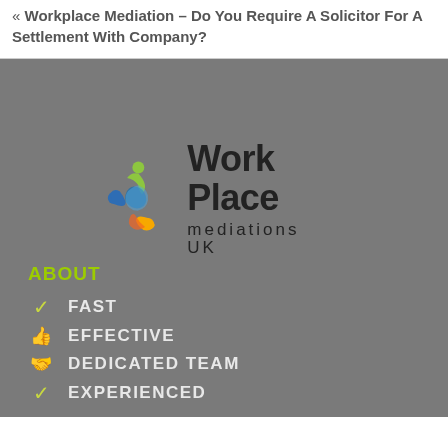« Workplace Mediation – Do You Require A Solicitor For A Settlement With Company?
[Figure (logo): Work Place mediations UK logo with colorful swirl icon of interconnected figures in blue, green, and yellow/orange]
ABOUT
FAST
EFFECTIVE
DEDICATED TEAM
EXPERIENCED